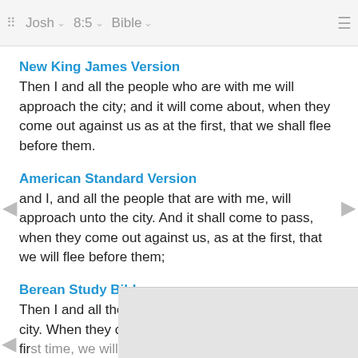Josh  8:5  Bible
New King James Version
Then I and all the people who are with me will approach the city; and it will come about, when they come out against us as at the first, that we shall flee before them.
American Standard Version
and I, and all the people that are with me, will approach unto the city. And it shall come to pass, when they come out against us, as at the first, that we will flee before them;
Berean Study Bible
Then I and all the troops with me will advance on the city. When they come out against us as they did the fir[st time, we will flee from them.
Doua[y-Rheims]